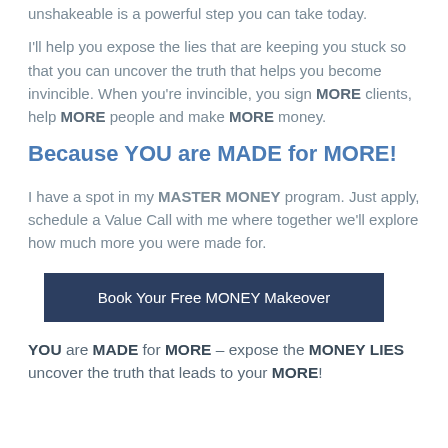unshakeable is a powerful step you can take today.
I'll help you expose the lies that are keeping you stuck so that you can uncover the truth that helps you become invincible. When you're invincible, you sign MORE clients, help MORE people and make MORE money.
Because YOU are MADE for MORE!
I have a spot in my MASTER MONEY program. Just apply, schedule a Value Call with me where together we'll explore how much more you were made for.
[Figure (other): Dark blue button with text: Book Your Free MONEY Makeover]
YOU are MADE for MORE – expose the MONEY LIES uncover the truth that leads to your MORE!